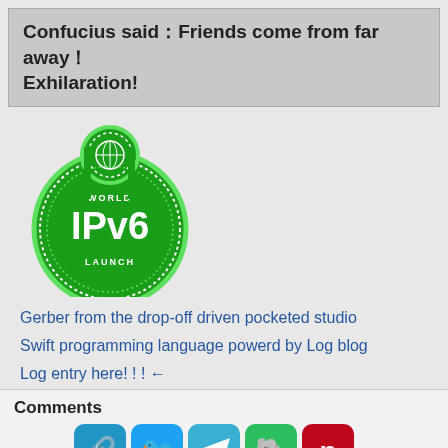Confucius said：Friends come from far away！Exhilaration!
[Figure (logo): World IPv6 Launch green badge/logo]
Gerber from the drop-off driven pocketed studio
Swift programming language powerd by Log blog
Log entry here! ! ! ←
Comments
[Figure (infographic): Social share buttons: link, Twitter, Telegram, Evernote, Pinterest (top row); Weibo, Douban, Plus (bottom row). Text: Be the first to add a comment]